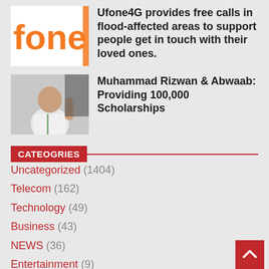[Figure (logo): Ufone4G logo with orange 'fone' text on white background, partially cropped]
Ufone4G provides free calls in flood-affected areas to support people get in touch with their loved ones.
[Figure (photo): Photo of Muhammad Rizwan in white polo shirt giving thumbs up]
Muhammad Rizwan & Abwaab: Providing 100,000 Scholarships
CATEOGRIES
Uncategorized (1404)
Telecom (162)
Technology (49)
Business (43)
NEWS (36)
Entertainment (9)